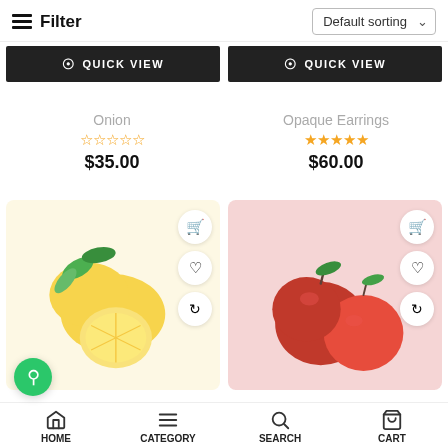Filter
Default sorting
QUICK VIEW
QUICK VIEW
Onion
★☆☆☆☆
$35.00
Opaque Earrings
★★★★★
$60.00
[Figure (photo): Lemons with green leaves on cream/yellow background, with cart, heart, and refresh action buttons]
[Figure (photo): Red apples with green leaf on pink background, with cart, heart, and refresh action buttons]
HOME
CATEGORY
SEARCH
CART